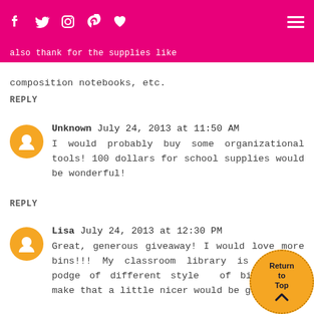Navigation bar with social icons (Facebook, Twitter, Instagram, Pinterest, Heart) and hamburger menu on pink/magenta background
composition notebooks, etc.
REPLY
Unknown July 24, 2013 at 11:50 AM
I would probably buy some organizational tools! 100 dollars for school supplies would be wonderful!
REPLY
Lisa July 24, 2013 at 12:30 PM
Great, generous giveaway! I would love more bins!!! My classroom library is a hodge podge of different styles of bins so to make that a little nicer would be great.
REPLY
[Figure (illustration): Return to Top button - orange circle with 'Return to Top' text and upward chevron arrow]